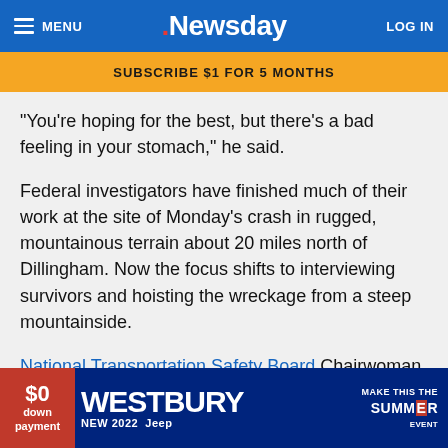MENU | Newsday | LOG IN
SUBSCRIBE $1 FOR 5 MONTHS
“You’re hoping for the best, but there’s a bad feeling in your stomach,” he said.
Federal investigators have finished much of their work at the site of Monday’s crash in rugged, mountainous terrain about 20 miles north of Dillingham. Now the focus shifts to interviewing survivors and hoisting the wreckage from a steep mountainside.
National Transportation Safety Board Chairwoman Deborah Hersman said Thursday investigators hope to tighte... recogr... nd
[Figure (advertisement): Westbury Jeep dealership ad: $0 down payment, NEW 2022 Jeep, Make This The Summer Event]